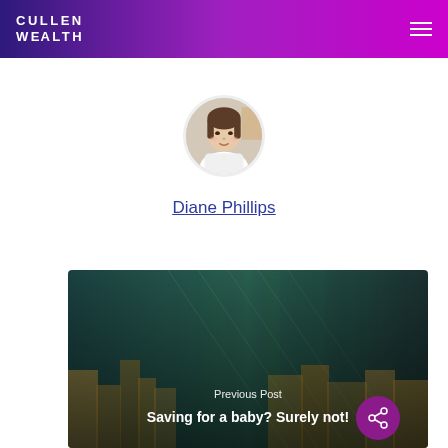CULLEN WEALTH
[Figure (photo): Circular profile photo of Diane Phillips, a woman with short dark hair]
Diane Phillips
[Figure (photo): Banner image of a city skyline at night with teal/dark green overlay, showing Previous Post link: Saving for a baby? Surely not!]